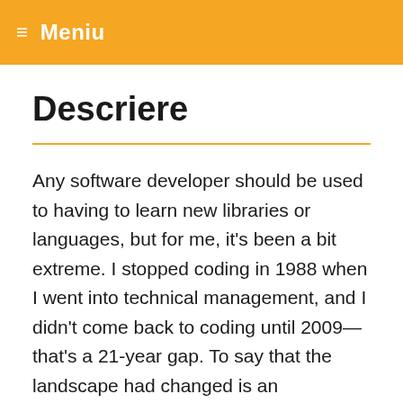≡ Meniu
Descriere
Any software developer should be used to having to learn new libraries or languages, but for me, it's been a bit extreme. I stopped coding in 1988 when I went into technical management, and I didn't come back to coding until 2009—that's a 21-year gap. To say that the landscape had changed is an understatement; I felt like a child on Christmas morning with so many lovely